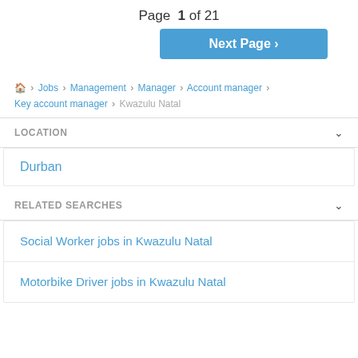Page 1 of 21
Next Page >
🏠 › Jobs › Management › Manager › Account manager › Key account manager › Kwazulu Natal
LOCATION
Durban
RELATED SEARCHES
Social Worker jobs in Kwazulu Natal
Motorbike Driver jobs in Kwazulu Natal